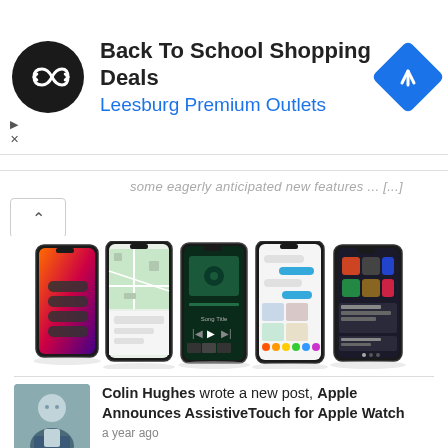[Figure (screenshot): Advertisement banner for 'Back To School Shopping Deals' at Leesburg Premium Outlets, with a black circular logo with infinity-style arrows, blue text subtitle, and a blue diamond navigation icon on the right. Small ad controls (triangle and X) on the left.]
some eagerly anticipated new features ... [...]
[Figure (photo): Five iPhone screens displayed side by side showing various iOS features including Control Center, Maps, Music player, Messages, and App Library or News screen.]
Colin Hughes wrote a new post, Apple Announces AssistiveTouch for Apple Watch
a year ago
Apple has just announced a range of new accessibility features that are designed for people with mobility, vision, hearing, and